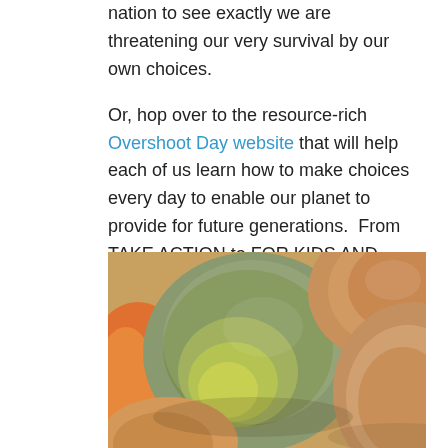nation to see exactly we are threatening our very survival by our own choices.
Or, hop over to the resource-rich Overshoot Day website that will help each of us learn how to make choices every day to enable our planet to provide for future generations.  From TAKE ACTION to FOR KIDS AND TEACHERS, there are ideas and activities to create positive change.
[Figure (photo): Close-up photograph of several cantaloupes/melons, showing green and yellow fuzzy skin, orange and tan coloring, filling the frame.]